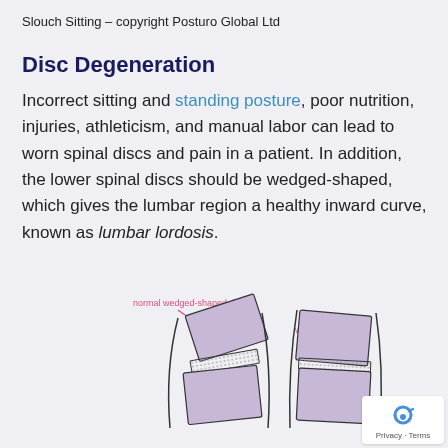Slouch Sitting – copyright Posturo Global Ltd
Disc Degeneration
Incorrect sitting and standing posture, poor nutrition, injuries, athleticism, and manual labor can lead to worn spinal discs and pain in a patient. In addition, the lower spinal discs should be wedged-shaped, which gives the lumbar region a healthy inward curve, known as lumbar lordosis.
[Figure (illustration): Two anatomical diagrams side by side showing spinal discs. Left diagram labeled 'normal wedged-shaped disc' shows a wedge-shaped disc between two vertebrae. Right diagram labeled 'worn flat disc' shows a flat disc between two vertebrae. Vertebrae shown as purple/lavender rectangles with dotted disc regions.]